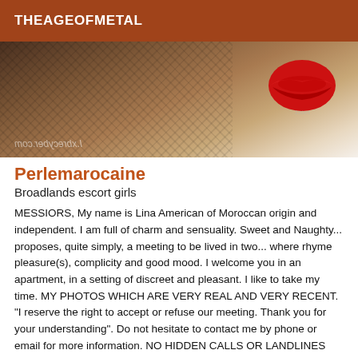THEAGEOFMETAL
[Figure (photo): Close-up photo of legs in dark fishnet stockings with a lips/mouth graphic visible in the background. Watermark text visible in lower left.]
Perlemarocaine
Broadlands escort girls
MESSIORS, My name is Lina American of Moroccan origin and independent. I am full of charm and sensuality. Sweet and Naughty... proposes, quite simply, a meeting to be lived in two... where rhyme pleasure(s), complicity and good mood. I welcome you in an apartment, in a setting of discreet and pleasant. I like to take my time. MY PHOTOS WHICH ARE VERY REAL AND VERY RECENT. "I reserve the right to accept or refuse our meeting. Thank you for your understanding". Do not hesitate to contact me by phone or email for more information. NO HIDDEN CALLS OR LANDLINES